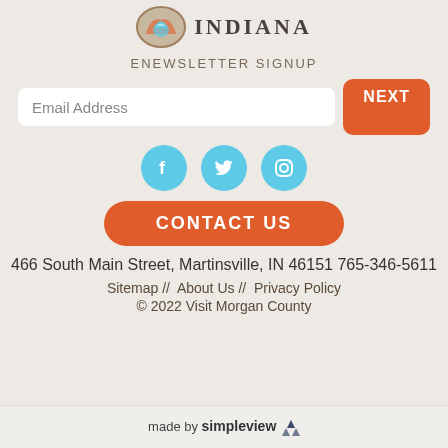[Figure (logo): Visit Morgan County Indiana logo with circular bird emblem]
ENEWSLETTER SIGNUP
Email Address | NEXT button
[Figure (infographic): Social media icons: Facebook, Twitter, Instagram in light blue circles]
CONTACT US
466 South Main Street, Martinsville, IN 46151 765-346-5611
Sitemap // About Us // Privacy Policy
© 2022 Visit Morgan County
made by simpleview